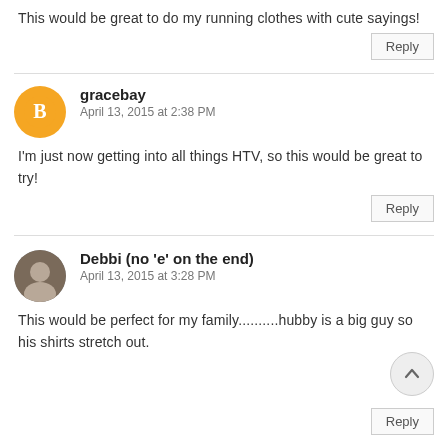This would be great to do my running clothes with cute sayings!
Reply
gracebay
April 13, 2015 at 2:38 PM
I'm just now getting into all things HTV, so this would be great to try!
Reply
Debbi (no 'e' on the end)
April 13, 2015 at 3:28 PM
This would be perfect for my family..........hubby is a big guy so his shirts stretch out.
Reply